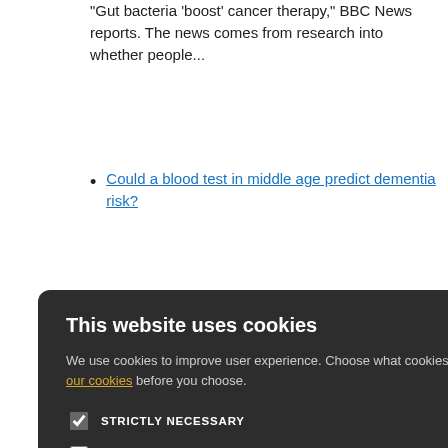"Gut bacteria 'boost' cancer therapy," BBC News reports. The news comes from research into whether people...
Could a blood test in middle age predict dementia risk?
nts to e Times.
d stomach
d reflux is f developing
lisappointing
ts of a se has led to very different...
This website uses cookies
We use cookies to improve user experience. Choose what cookies you allow us to use. You can read more about our cookies before you choose.
STRICTLY NECESSARY
PERFORMANCE
TARGETING
FUNCTIONALITY
ACCEPT ALL  DECLINE ALL